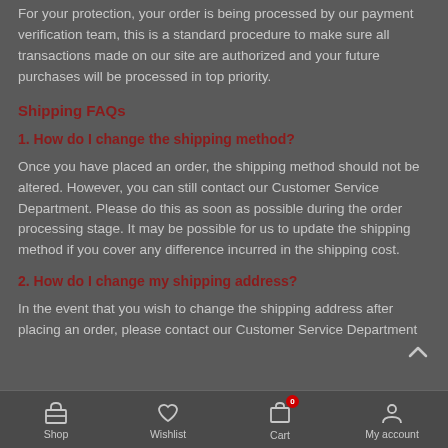For your protection, your order is being processed by our payment verification team, this is a standard procedure to make sure all transactions made on our site are authorized and your future purchases will be processed in top priority.
Shipping FAQs
1. How do I change the shipping method?
Once you have placed an order, the shipping method should not be altered. However, you can still contact our Customer Service Department. Please do this as soon as possible during the order processing stage. It may be possible for us to update the shipping method if you cover any difference incurred in the shipping cost.
2. How do I change my shipping address?
In the event that you wish to change the shipping address after placing an order, please contact our Customer Service Department
Shop  Wishlist  Cart  My account